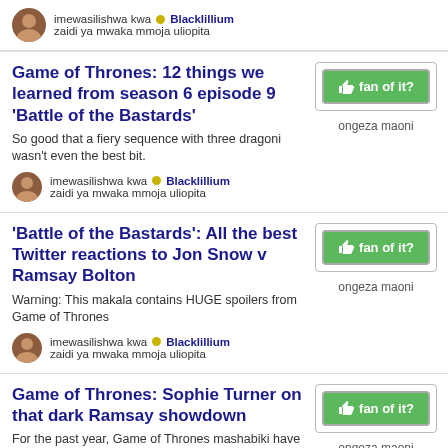imewasilishwa kwa • Blacklillium
zaidi ya mwaka mmoja uliopita
Game of Thrones: 12 things we learned from season 6 episode 9 'Battle of the Bastards'
So good that a fiery sequence with three dragoni wasn't even the best bit.
imewasilishwa kwa • Blacklillium
zaidi ya mwaka mmoja uliopita
'Battle of the Bastards': All the best Twitter reactions to Jon Snow v Ramsay Bolton
Warning: This makala contains HUGE spoilers from Game of Thrones
imewasilishwa kwa • Blacklillium
zaidi ya mwaka mmoja uliopita
Game of Thrones: Sophie Turner on that dark Ramsay showdown
For the past year, Game of Thrones mashabiki have been saying the same thing over and over again to Sophie Turner.
imewasilishwa kwa • Saejima